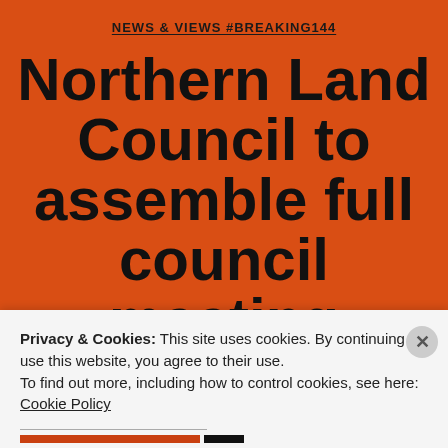NEWS & VIEWS #BREAKING144
Northern Land Council to assemble full council meeting without Minister
Privacy & Cookies: This site uses cookies. By continuing to use this website, you agree to their use.
To find out more, including how to control cookies, see here: Cookie Policy
CLOSE AND ACCEPT